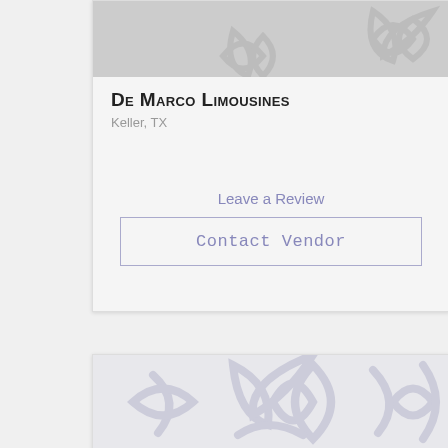[Figure (illustration): Gray decorative flower/snowflake pattern background image at top of vendor card]
De Marco Limousines
Keller, TX
Leave a Review
Contact Vendor
[Figure (illustration): Gray decorative flower/snowflake pattern background image at bottom card]